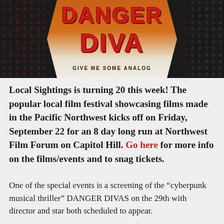[Figure (photo): Movie poster for DANGER DIVAS – Give Me Some Analog. Dark background with binary code (0s and 1s) in red on left and right sides. Center shows an orange/hexagonal design with large bold red text reading DANGER on top and DIVA below, with the tagline GIVE ME SOME ANALOG underneath. A person's arms are visible framing the central design.]
Local Sightings is turning 20 this week! The popular local film festival showcasing films made in the Pacific Northwest kicks off on Friday, September 22 for an 8 day long run at Northwest Film Forum on Capitol Hill. Go here for more info on the films/events and to snag tickets.
One of the special events is a screening of the “cyberpunk musical thriller” DANGER DIVAS on the 29th with director and star both scheduled to appear.